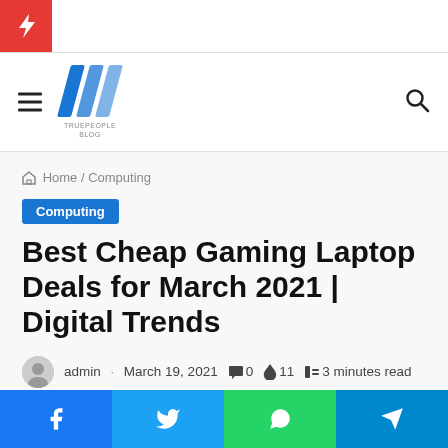[Figure (logo): Website logo with three blue diagonal stripes and small text below]
Home / Computing
Computing
Best Cheap Gaming Laptop Deals for March 2021 | Digital Trends
admin · March 19, 2021 · 0 · 11 · 3 minutes read